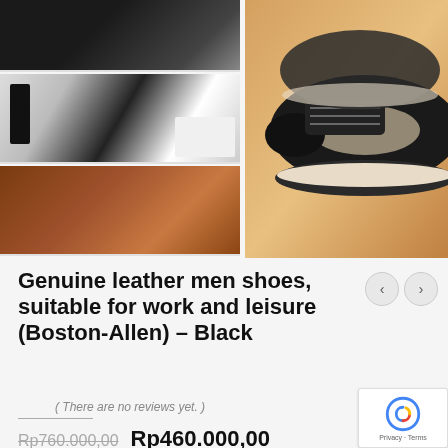[Figure (photo): Top thumbnail: black shoe close-up]
[Figure (photo): Middle thumbnail: flat lay of shoe accessories and white sneaker]
[Figure (photo): Bottom thumbnail: brown leather dress shoes]
[Figure (photo): Main large image: black leather sneakers with beige/grey stripe on orange background]
Genuine leather men shoes, suitable for work and leisure (Boston-Allen) – Black
( There are no reviews yet. )
Rp760.000,00  Rp460.000,00